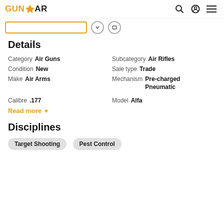GUNSTAR
Details
Category  Air Guns    Subcategory  Air Rifles
Condition  New    Sale type  Trade
Make  Air Arms    Mechanism  Pre-charged Pneumatic
Calibre  .177    Model  Alfa
Read more
Disciplines
Target Shooting
Pest Control